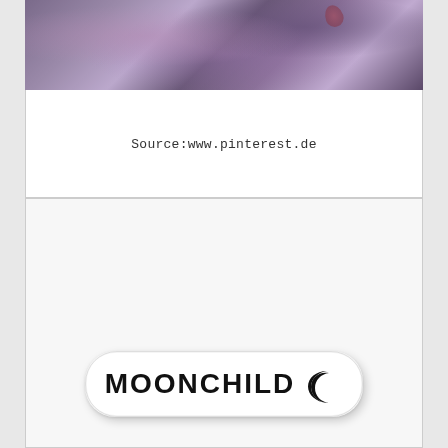[Figure (photo): Close-up photo of purple/violet flowers or plant material with blurred bokeh background]
Source:www.pinterest.de
[Figure (logo): MOONCHILD sticker/logo with text 'MOONCHILD' in bold black letters and a crescent moon symbol on a white rounded sticker background]